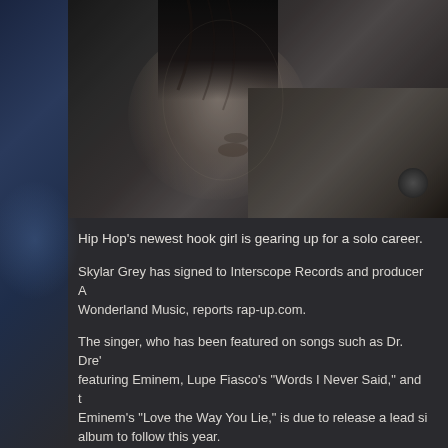[Figure (photo): Black and white close-up profile photograph of a woman with dark hair, wearing a jacket with visible strap or buckle detail, looking slightly downward]
Hip Hop's newest hook girl is gearing up for a solo career.
Skylar Grey has signed to Interscope Records and producer A... Wonderland Music, reports rap-up.com.
The singer, who has been featured on songs such as Dr. Dre'... featuring Eminem, Lupe Fiasco's "Words I Never Said," and t... Eminem's "Love the Way You Lie," is due to release a lead si... album to follow this year.